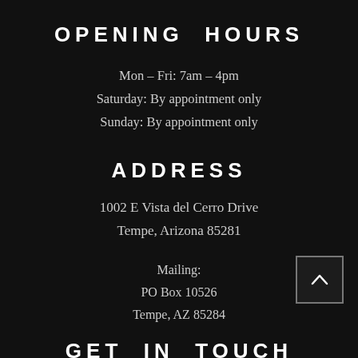OPENING HOURS
Mon - Fri: 7am - 4pm
Saturday: By appointment only
Sunday: By appointment only
ADDRESS
1002 E Vista del Cerro Drive
Tempe, Arizona 85281
Mailing:
PO Box 10526
Tempe, AZ 85284
GET IN TOUCH